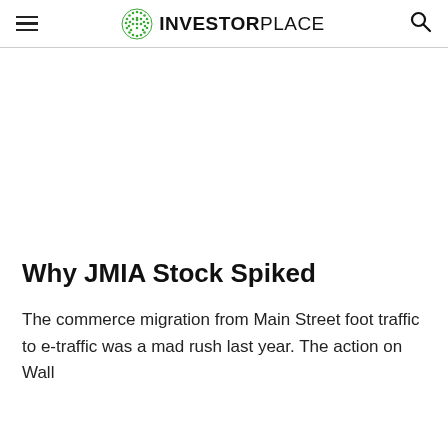INVESTORPLACE
Why JMIA Stock Spiked
The commerce migration from Main Street foot traffic to e-traffic was a mad rush last year. The action on Wall